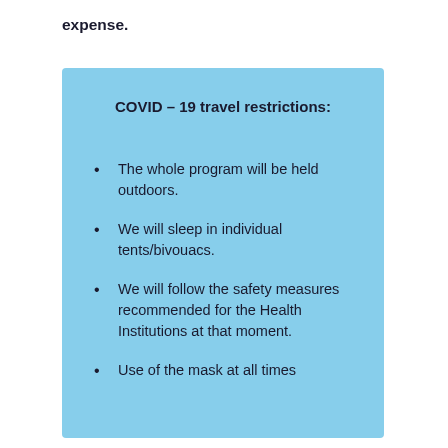expense.
COVID – 19 travel restrictions:
The whole program will be held outdoors.
We will sleep in individual tents/bivouacs.
We will follow the safety measures recommended for the Health Institutions at that moment.
Use of the mask at all times